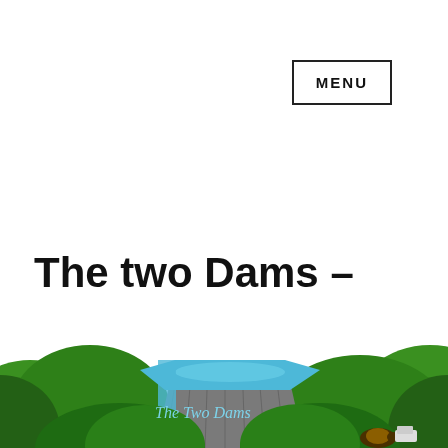MENU
The two Dams – Bakun Vs Murum – and beyond
[Figure (illustration): Illustrated book cover or graphic showing two dams surrounded by green trees/jungle, with a blue reservoir and grey dam structure visible. Text 'The Two Dams' written in cursive script on the lower-left of the image. A small figure/turtle visible at the lower right.]